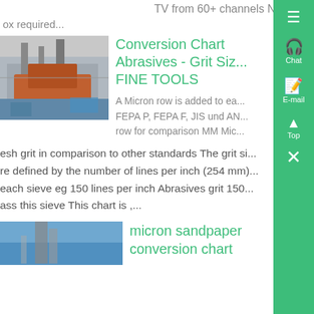TV from 60+ channels No ca
ox required...
Conversion Chart Abrasives - Grit Siz... FINE TOOLS
A Micron row is added to ea... FEPA P, FEPA F, JIS und AN... row for comparison MM Mic...
esh grit in comparison to other standards The grit si... re defined by the number of lines per inch (254 mm)... each sieve eg 150 lines per inch Abrasives grit 150... ass this sieve This chart is ,...
[Figure (photo): Industrial mining/crushing machinery with metal framework structure, orange equipment visible]
micron sandpaper conversion chart
[Figure (photo): Industrial structure or tower against blue sky, partially visible at bottom of page]